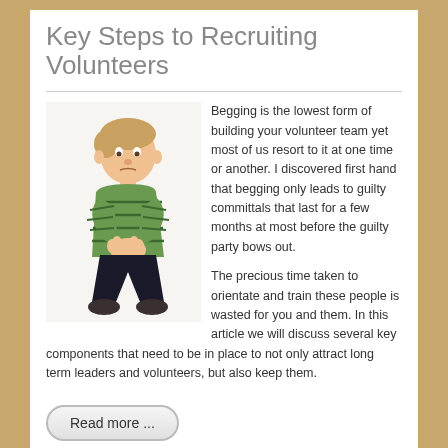Key Steps to Recruiting Volunteers
[Figure (photo): Young boy with hands clasped together in a begging pose, wearing a green striped shirt, photographed from a slightly elevated angle]
Begging is the lowest form of building your volunteer team yet most of us resort to it at one time or another. I discovered first hand that begging only leads to guilty committals that last for a few months at most before the guilty party bows out.

The precious time taken to orientate and train these people is wasted for you and them. In this article we will discuss several key components that need to be in place to not only attract long term leaders and volunteers, but also keep them.
Read more ...
More Articles ...
Write the Vision and Make it Clear